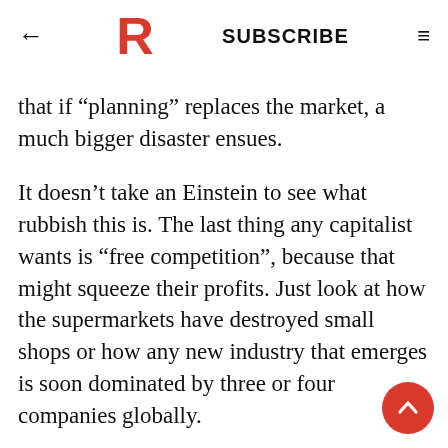← R SUBSCRIBE ≡
that if “planning” replaces the market, a much bigger disaster ensues.
It doesn’t take an Einstein to see what rubbish this is. The last thing any capitalist wants is “free competition”, because that might squeeze their profits. Just look at how the supermarkets have destroyed small shops or how any new industry that emerges is soon dominated by three or four companies globally.
But there’s another angle to this. Capitalists preach “the market” for the working class —